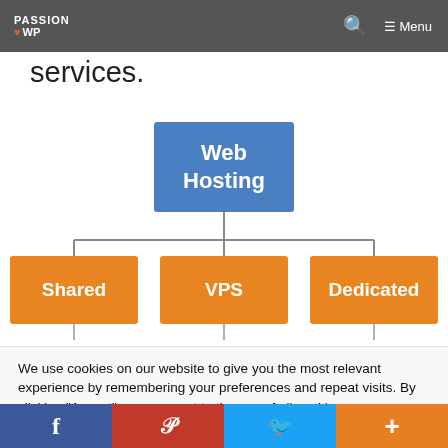PASSION WP — Navigation bar with logo, search, and menu
dedicated could be offered under managed or unmanaged hosting services.
[Figure (organizational-chart): Web Hosting organizational chart showing three sub-categories: Shared, VPS, and Dedicated. Blue top node 'Web Hosting' connects via lines to three orange nodes below: Shared, VPS, Dedicated. Each node has a line descending below it.]
We use cookies on our website to give you the most relevant experience by remembering your preferences and repeat visits. By clicking “Accept”, you consent to the use of all cookies.
Social share bar: Facebook, Pinterest, Twitter, Plus